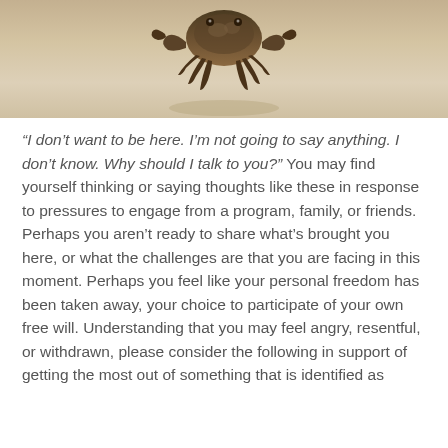[Figure (photo): Close-up photo of a crab or small creature on a sandy/beige surface, cropped so only the bottom portion of the animal and the sandy background are visible.]
“I don’t want to be here. I’m not going to say anything. I don’t know. Why should I talk to you?” You may find yourself thinking or saying thoughts like these in response to pressures to engage from a program, family, or friends. Perhaps you aren’t ready to share what’s brought you here, or what the challenges are that you are facing in this moment. Perhaps you feel like your personal freedom has been taken away, your choice to participate of your own free will. Understanding that you may feel angry, resentful, or withdrawn, please consider the following in support of getting the most out of something that is identified as